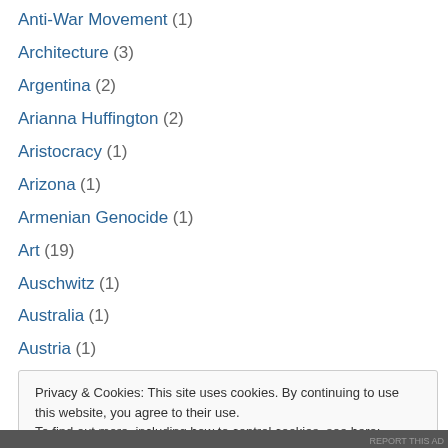Anti-War Movement (1)
Architecture (3)
Argentina (2)
Arianna Huffington (2)
Aristocracy (1)
Arizona (1)
Armenian Genocide (1)
Art (19)
Auschwitz (1)
Australia (1)
Austria (1)
Beats (1)
Belgium (1)
Privacy & Cookies: This site uses cookies. By continuing to use this website, you agree to their use. To find out more, including how to control cookies, see here: Cookie Policy
Close and accept